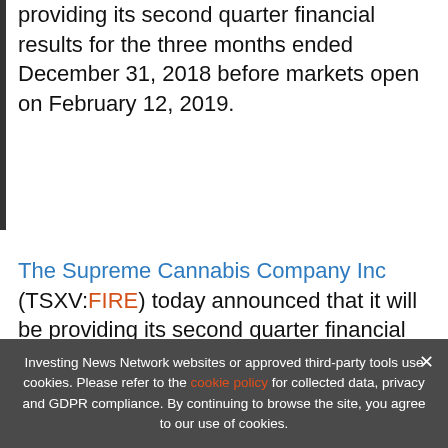providing its second quarter financial results for the three months ended December 31, 2018 before markets open on February 12, 2019.
The Supreme Cannabis Company Inc (TSXV:FIRE) today announced that it will be providing its second quarter financial results for the three months ended December 31. 2018 before markets oper on F
[Figure (infographic): Ad banner: 'Updated Aug 5, 2022' with orange header. Shows Cannabis Outlook 2022 report ad with text 'TOP CANNABIS Stocks, Trends, Forecasts 2022 Cannabis Outlook Report' and INN logo. Has a close X button.]
About Supreme Cannabis
Investing News Network websites or approved third-party tools use cookies. Please refer to the cookie policy for collected data, privacy and GDPR compliance. By continuing to browse the site, you agree to our use of cookies.